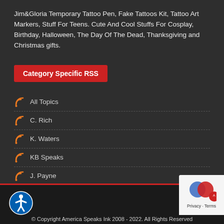Jim&Gloria Temporary Tattoo Pen, Fake Tattoos Kit, Tattoo Art Markers, Stuff For Teens. Cute And Cool Stuffs For Cosplay, Birthday, Halloween, The Day Of The Dead, Thanksgiving and Christmas gifts.
Category Specific RSS
All Topics
C. Rich
K. Waters
KB Speaks
J. Payne
© Copyright America Speaks Ink 2008 - 2022. All Rights Reserved